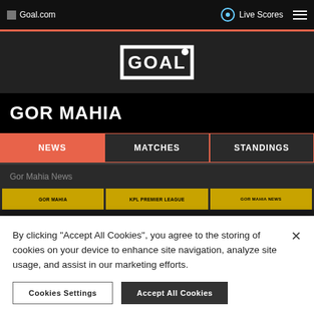Goal.com  Live Scores
[Figure (logo): GOAL logo — white text in rectangular goal-post frame on dark background]
GOR MAHIA
NEWS
MATCHES
STANDINGS
Gor Mahia News
By clicking "Accept All Cookies", you agree to the storing of cookies on your device to enhance site navigation, analyze site usage, and assist in our marketing efforts.